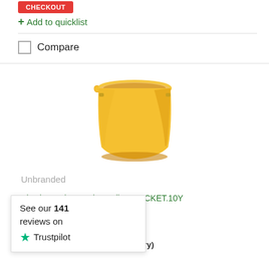[Figure (other): Red 'CHECKOUT' or cart button at top]
+ Add to quicklist
Compare
[Figure (photo): Yellow plastic 10 litre bucket product image on white background]
Unbranded
Plastic 10 Litre Bucket Yellow BUCKET.10Y
e: CX01512
In Stock
Warehouse 1: 5 (Next Day Delivery)
[Figure (other): Trustpilot popup overlay showing: See our 141 reviews on Trustpilot]